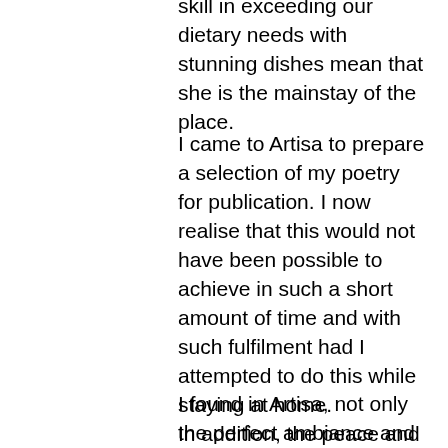skill in exceeding our dietary needs with stunning dishes mean that she is the mainstay of the place.
I came to Artisa to prepare a selection of my poetry for publication. I now realise that this would not have been possible to achieve in such a short amount of time and with such fulfilment had I attempted to do this while staying at home. In addition, the peace and time I found in such abundance at Artisa offered opportunity for deeper reflection about many aspects of my writing, which reflections have since pressed me to work even harder to improve my craft.
I found in Artisa, not only the perfect ambiance and ethos for the sustained concentration I needed to muster to my particular task, but also a beautiful and